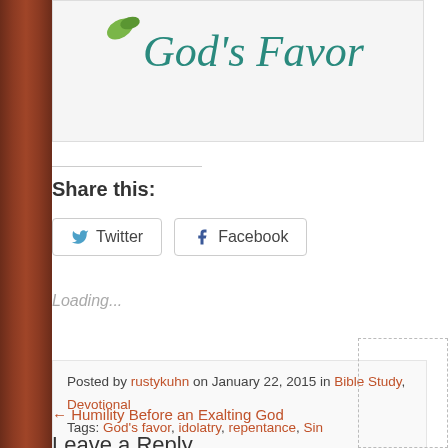[Figure (illustration): Book cover image showing 'God's Favor' in teal decorative font with a small green leaf/plant graphic]
Share this:
Twitter  Facebook
Loading...
Posted by rustykuhn on January 22, 2015 in Bible Study, Devotional
Tags: God's favor, idolatry, repentance, Sin
← Humility Before an Exalting God
Leave a Reply